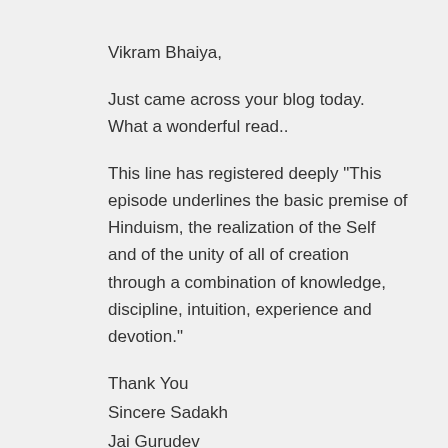Vikram Bhaiya,
Just came across your blog today. What a wonderful read..
This line has registered deeply "This episode underlines the basic premise of Hinduism, the realization of the Self and of the unity of all of creation through a combination of knowledge, discipline, intuition, experience and devotion."
Thank You
Sincere Sadakh
Jai Gurudev
Reply